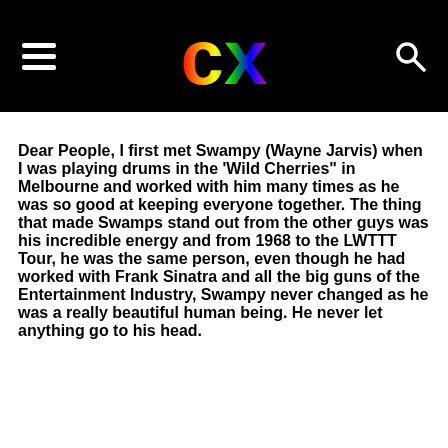CX (logo with hamburger menu and search icon)
Dear People, I first met Swampy (Wayne Jarvis) when I was playing drums in the ‘Wild Cherries” in Melbourne and worked with him many times as he was so good at keeping everyone together. The thing that made Swamps stand out from the other guys was his incredible energy and from 1968 to the LWTTT Tour, he was the same person, even though he had worked with Frank Sinatra and all the big guns of the Entertainment Industry, Swampy never changed as he was a really beautiful human being. He never let anything go to his head.